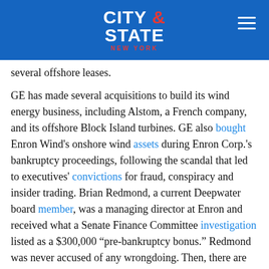CITY & STATE NEW YORK
several offshore leases.
GE has made several acquisitions to build its wind energy business, including Alstom, a French company, and its offshore Block Island turbines. GE also bought Enron Wind's onshore wind assets during Enron Corp.'s bankruptcy proceedings, following the scandal that led to executives' convictions for fraud, conspiracy and insider trading. Brian Redmond, a current Deepwater board member, was a managing director at Enron and received what a Senate Finance Committee investigation listed as a $300,000 “pre-bankruptcy bonus.” Redmond was never accused of any wrongdoing. Then, there are the questions raised about campaign contributions to Cuomo by Deepwater-linked individuals